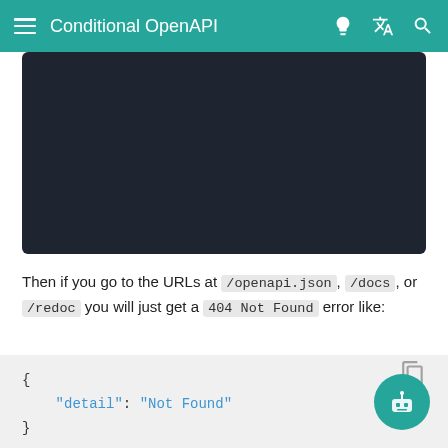Conditional OpenAPI
[Figure (screenshot): Dark-themed code editor or browser screenshot showing API documentation interface]
Then if you go to the URLs at /openapi.json, /docs, or /redoc you will just get a 404 Not Found error like:
{
    "detail": "Not Found"
}